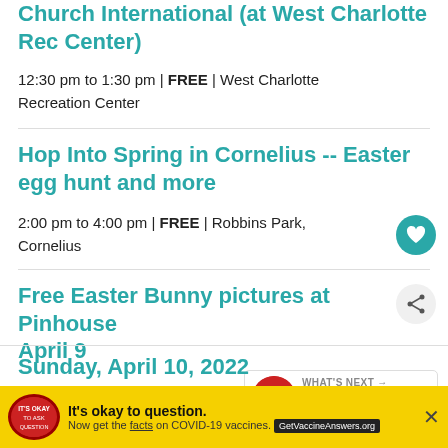Church International (at West Charlotte Rec Center)
12:30 pm to 1:30 pm | FREE | West Charlotte Recreation Center
Hop Into Spring in Cornelius -- Easter egg hunt and more
2:00 pm to 4:00 pm | FREE | Robbins Park, Cornelius
Free Easter Bunny pictures at Pinhouse April 9
3:00 pm to 7:00 pm | FREE | Pinhouse
[Figure (infographic): WHAT'S NEXT arrow with circular image and text: Cocoa with Santa at Qu...]
Sunday, April 10, 2022
[Figure (infographic): Advertisement banner: It's okay to question. Now get the facts on COVID-19 vaccines. GetVaccineAnswers.org]